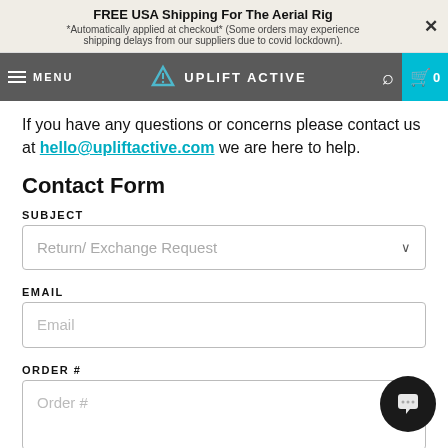FREE USA Shipping For The Aerial Rig
*Automatically applied at checkout* (Some orders may experience shipping delays from our suppliers due to covid lockdown).
[Figure (screenshot): Navigation bar with hamburger menu, UPLIFT ACTIVE logo with triangle icon, search icon, and teal cart button showing 0 items]
If you have any questions or concerns please contact us at hello@upliftactive.com we are here to help.
Contact Form
SUBJECT
Return/ Exchange Request
EMAIL
Email
ORDER #
Order #